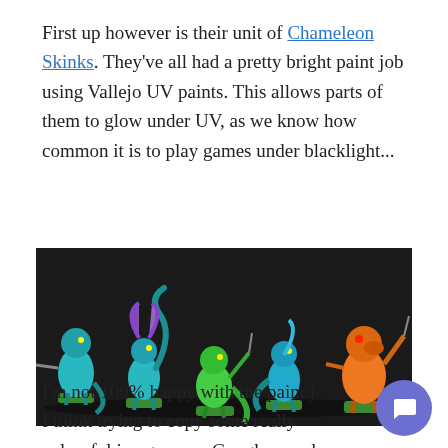First up however is their unit of Chameleon Skinks. They've all had a pretty bright paint job using Vallejo UV paints. This allows parts of them to glow under UV, as we know how common it is to play games under blacklight...
[Figure (photo): Five Chameleon Skink miniature figures painted in bright teal, green, and orange colors, posed on green bases against a dark background]
I'm not 100% happy with the paint j I think trying to copy some really colourful images on a Google search